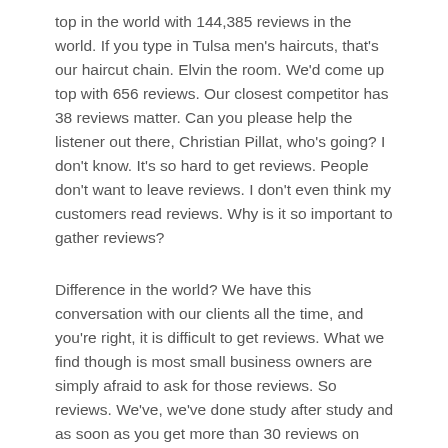top in the world with 144,385 reviews in the world. If you type in Tulsa men's haircuts, that's our haircut chain. Elvin the room. We'd come up top with 656 reviews. Our closest competitor has 38 reviews matter. Can you please help the listener out there, Christian Pillat, who's going? I don't know. It's so hard to get reviews. People don't want to leave reviews. I don't even think my customers read reviews. Why is it so important to gather reviews?
Difference in the world? We have this conversation with our clients all the time, and you're right, it is difficult to get reviews. What we find though is most small business owners are simply afraid to ask for those reviews. So reviews. We've, we've done study after study and as soon as you get more than 30 reviews on Google a, your business starts to show up at the top. And that's regardless of a lot of other things that are happening. Uh, so focus on what we've done. And this is also me being a Franchisee, a Franchisee of Cherry blowdry bar, salon chain, but for each of our locations, we told our managers that they needed